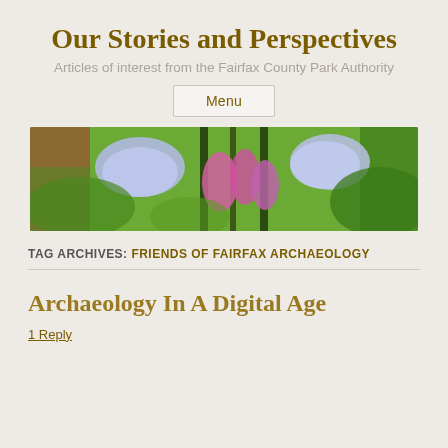Our Stories and Perspectives
Articles of interest from the Fairfax County Park Authority
Menu
[Figure (photo): Close-up banner photo of light purple/blue bell-shaped flowers (Virginia bluebells) with green leaves in the background]
TAG ARCHIVES: FRIENDS OF FAIRFAX ARCHAEOLOGY
Archaeology In A Digital Age
1 Reply